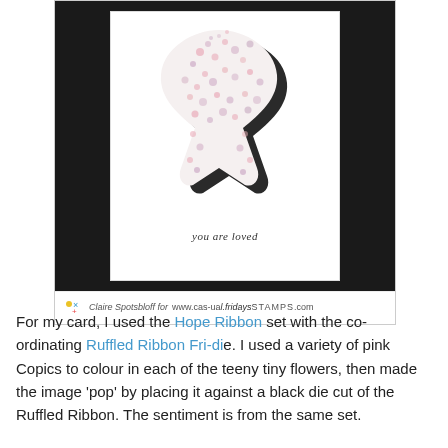[Figure (photo): A greeting card with a floral Hope Ribbon (awareness ribbon covered in tiny pink and purple flowers) placed against a black die-cut shadow, with the sentiment 'you are loved' below. The card is photographed against a dark background. Below the photo is a watermark/credit line: a small logo icon, 'Claire Spotsbloff for www.cas-ual.fridaysSTAMPS.com']
For my card, I used the Hope Ribbon set with the co-ordinating Ruffled Ribbon Fri-die. I used a variety of pink Copics to colour in each of the teeny tiny flowers, then made the image 'pop' by placing it against a black die cut of the Ruffled Ribbon. The sentiment is from the same set.